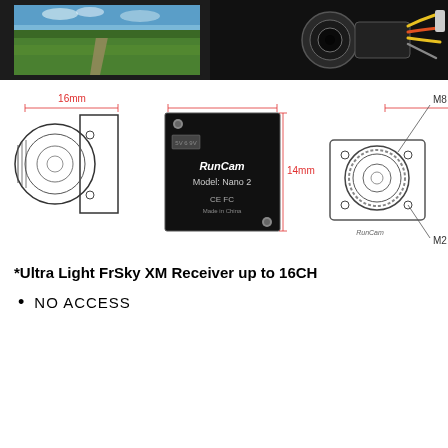[Figure (photo): Product photo banner showing FPV camera (RunCam) against a sky and field background, with camera hardware visible on dark background on the right side.]
[Figure (engineering-diagram): Three engineering diagrams of the RunCam Nano 2 FPV camera: left diagram shows side view with 16mm width dimension, center shows front face (14mm x 14mm) with RunCam branding and CE/FCC marks, right shows 3D perspective view labeling M8 Lens and M2 Screws.]
*Ultra Light FrSky XM Receiver up to 16CH
NO ACCESS